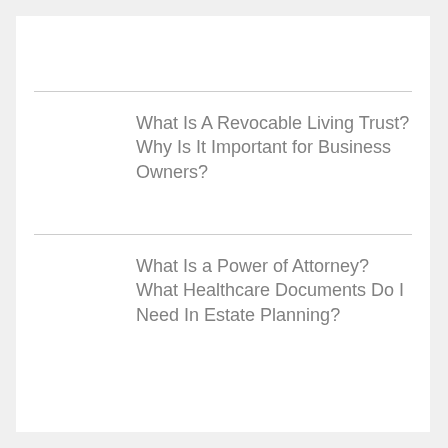What Is A Revocable Living Trust? Why Is It Important for Business Owners?
What Is a Power of Attorney? What Healthcare Documents Do I Need In Estate Planning?